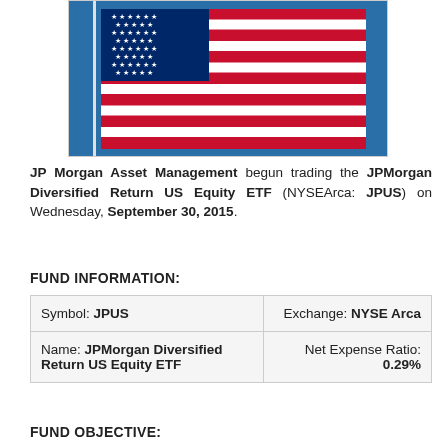[Figure (photo): American flag waving against a blue sky, mounted on a flag pole]
JP Morgan Asset Management begun trading the JPMorgan Diversified Return US Equity ETF (NYSEArca: JPUS) on Wednesday, September 30, 2015.
FUND INFORMATION:
| Symbol: JPUS | Exchange: NYSE Arca |
| Name: JPMorgan Diversified Return US Equity ETF | Net Expense Ratio: 0.29% |
FUND OBJECTIVE: